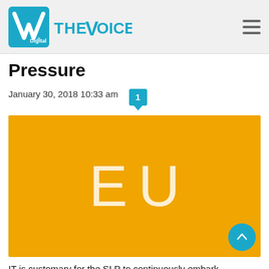VP Digital / The Voice — navigation header
Pressure
January 30, 2018 10:33 am  1
[Figure (illustration): Orange/amber background image with white large text 'EU' in the center]
IT is customary for the SLP to continuously embark